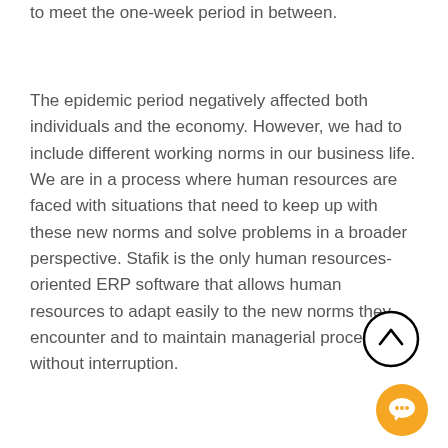to meet the one-week period in between.
The epidemic period negatively affected both individuals and the economy. However, we had to include different working norms in our business life. We are in a process where human resources are faced with situations that need to keep up with these new norms and solve problems in a broader perspective. Stafik is the only human resources-oriented ERP software that allows human resources to adapt easily to the new norms they encounter and to maintain managerial processes without interruption.
[Figure (illustration): Scroll-to-top button: circle with upward chevron arrow, black outline on white background]
[Figure (illustration): Chat/support button: orange filled circle with chat bubble icon, bottom-right corner]